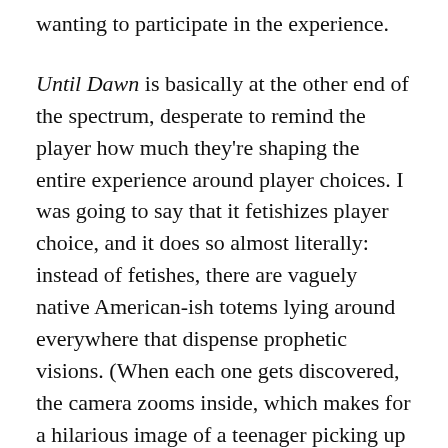wanting to participate in the experience.
Until Dawn is basically at the other end of the spectrum, desperate to remind the player how much they're shaping the entire experience around player choices. I was going to say that it fetishizes player choice, and it does so almost literally: instead of fetishes, there are vaguely native American-ish totems lying around everywhere that dispense prophetic visions. (When each one gets discovered, the camera zooms inside, which makes for a hilarious image of a teenager picking up this weird totem and immediately slamming her face into it).